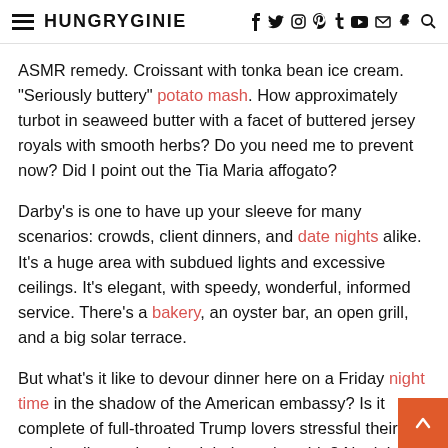HUNGRYGINIE
ASMR remedy. Croissant with tonka bean ice cream. “Seriously buttery” potato mash. How approximately turbot in seaweed butter with a facet of buttered jersey royals with smooth herbs? Do you need me to prevent now? Did I point out the Tia Maria affogato?
Darby’s is one to have up your sleeve for many scenarios: crowds, client dinners, and date nights alike. It’s a huge area with subdued lights and excessive ceilings. It’s elegant, with speedy, wonderful, informed service. There’s a bakery, an oyster bar, an open grill, and a big solar terrace.
But what’s it like to devour dinner here on a Friday night time in the shadow of the American embassy? Is it complete of full-throated Trump lovers stressful their steak well completed and their portions big? No, it is not like that in any respect. Darby’s